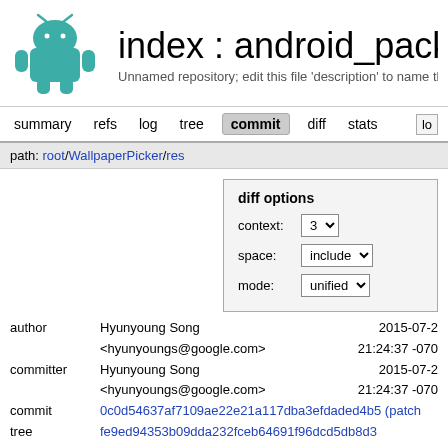[Figure (logo): Android robot logo in teal/green color]
index : android_package
Unnamed repository; edit this file 'description' to name th
summary   refs   log   tree   commit   diff   stats   lo
path: root/WallpaperPicker/res
diff options
context: 3
space: include
mode: unified
author   Hyunyoung Song <hyunyoungs@google.com>   2015-07-2 21:24:37 -070
committer   Hyunyoung Song <hyunyoungs@google.com>   2015-07-2 21:24:37 -070
commit   0c0d54637af7109ae22e21a117dba3efdaded4b5 (patch
tree   fe9ed94353b09dda232fceb64691f96dcd5db8d3 /WallpaperPicker/res